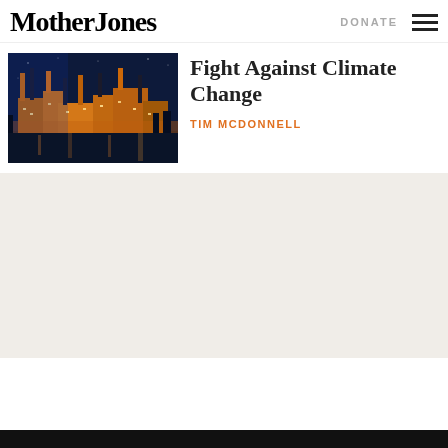Mother Jones
[Figure (photo): Industrial power plant or factory at night with smokestacks lit up in blue and orange light]
Fight Against Climate Change
TIM MCDONNELL